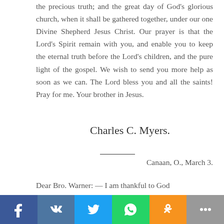the precious truth; and the great day of God's glorious church, when it shall be gathered together, under our one Divine Shepherd Jesus Christ. Our prayer is that the Lord's Spirit remain with you, and enable you to keep the eternal truth before the Lord's children, and the pure light of the gospel. We wish to send you more help as soon as we can. The Lord bless you and all the saints! Pray for me. Your brother in Jesus.
Charles C. Myers.
Canaan, O., March 3.
Dear Bro. Warner: — I am thankful to God
[Figure (other): Social sharing bar with Facebook, VK, Twitter, WhatsApp, Odnoklassniki, and more buttons]